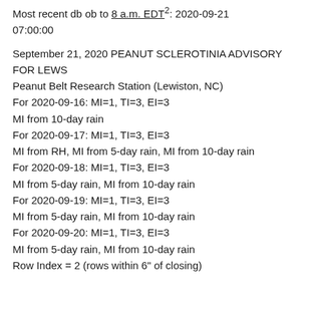Most recent db ob to 8 a.m. EDT[2]: 2020-09-21 07:00:00
September 21, 2020 PEANUT SCLEROTINIA ADVISORY FOR LEWS
Peanut Belt Research Station (Lewiston, NC)
For 2020-09-16: MI=1, TI=3, EI=3
MI from 10-day rain
For 2020-09-17: MI=1, TI=3, EI=3
MI from RH, MI from 5-day rain, MI from 10-day rain
For 2020-09-18: MI=1, TI=3, EI=3
MI from 5-day rain, MI from 10-day rain
For 2020-09-19: MI=1, TI=3, EI=3
MI from 5-day rain, MI from 10-day rain
For 2020-09-20: MI=1, TI=3, EI=3
MI from 5-day rain, MI from 10-day rain
Row Index = 2 (rows within 6" of closing)